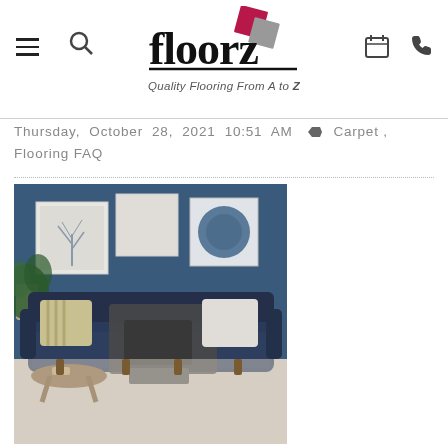floorz — Quality Flooring From A to Z
Thursday,  October  28,  2021  10:51 AM  ♦  Carpet ,
Flooring FAQ
[Figure (photo): Living room interior with a dark navy blue sofa with decorative pillows and a throw blanket, a small wooden coffee table, and wall art against a dark blue wall, all on a light beige/grey carpet flooring.]